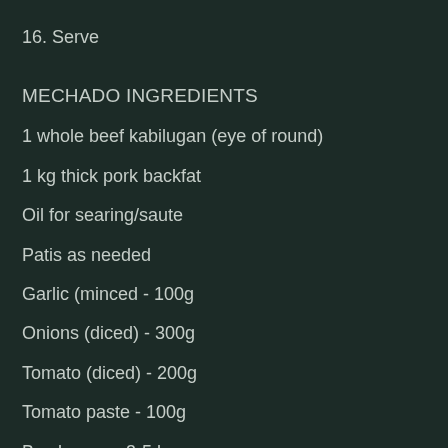16. Serve
MECHADO INGREDIENTS
1 whole beef kabilugan (eye of round)
1 kg thick pork backfat
Oil for searing/saute
Patis as needed
Garlic (minced - 100g
Onions (diced) - 300g
Tomato (diced) - 200g
Tomato paste - 100g
Bay leaves - 3-5 leaves
Soy sauce - 100ml